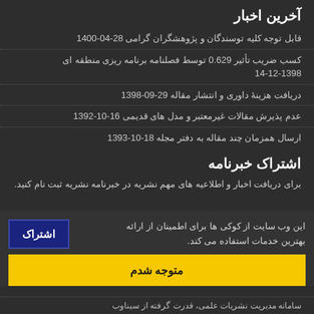آخرین اخبار
قابل توجه کلیه توسندگان و پژوهشگران گرامی 28-04-1400
کسب ضریب تأثیر 0.629 توسط فصلنامه برنامه ریزی منطقه ای 14-12-1398
دریافت هزینۀ داوری و انتشار مقاله 29-09-1398
عدم پذیرش مقالات غیرمعتبر و مدل های قدیمی 16-10-1392
ارسال همزمان چند مقاله به دفتر مجله 18-10-1393
اشتراک خبرنامه
برای دریافت اخبار و اطلاعیه های مهم نشریه در خبرنامه نشریه ثبت نام کنید.
این وب سایت از کوکی ها برای اطمینان از ارائه بهترین خدمات استفاده می کند.
متوجه شدم
سامانه مدیریت نشریات علمی، قدرت گرفته از سیناوب